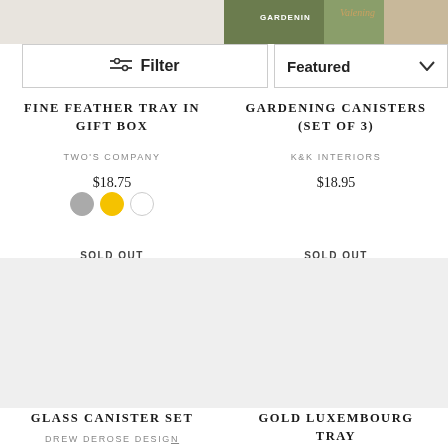[Figure (photo): Top strip showing partial product images including gardening canisters]
Filter
Featured
FINE FEATHER TRAY IN GIFT BOX
TWO'S COMPANY
$18.75
SOLD OUT
GARDENING CANISTERS (SET OF 3)
K&K INTERIORS
$18.95
SOLD OUT
[Figure (photo): Glass canister set product image placeholder]
GLASS CANISTER SET
DREW DEROSE DESIGN
[Figure (photo): Gold Luxembourg Tray product image placeholder]
GOLD LUXEMBOURG TRAY